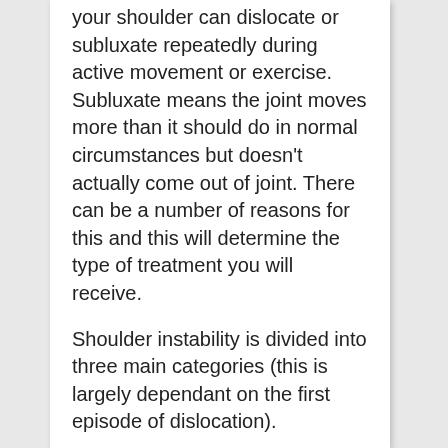your shoulder can dislocate or subluxate repeatedly during active movement or exercise. Subluxate means the joint moves more than it should do in normal circumstances but doesn't actually come out of joint. There can be a number of reasons for this and this will determine the type of treatment you will receive.
Shoulder instability is divided into three main categories (this is largely dependant on the first episode of dislocation).
1. Traumatic dislocation. This when the shoulder has undergone an injury with enough force to pull the shoulder out of joint such as